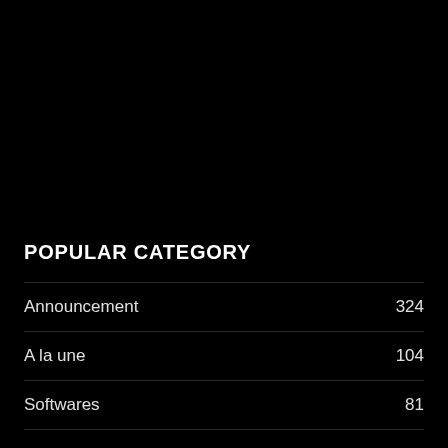POPULAR CATEGORY
Announcement 324
A la une 104
Softwares 81